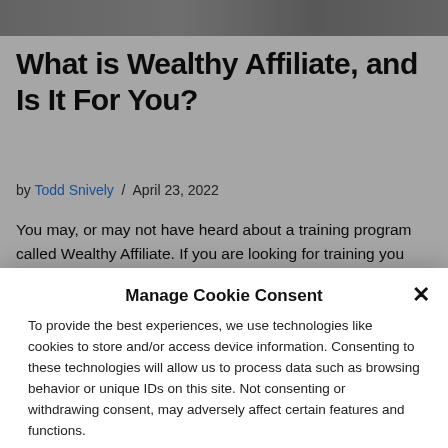[Figure (photo): Hero image at the top of the article, appears to show people, partially cropped]
What is Wealthy Affiliate, and Is It For You?
by Todd Snively / April 23, 2022
You may, or may not have heard about a training program called Wealthy Affiliate. If you are looking for training you may
Manage Cookie Consent
To provide the best experiences, we use technologies like cookies to store and/or access device information. Consenting to these technologies will allow us to process data such as browsing behavior or unique IDs on this site. Not consenting or withdrawing consent, may adversely affect certain features and functions.
Accept
Cookie Policy   Privacy Policy